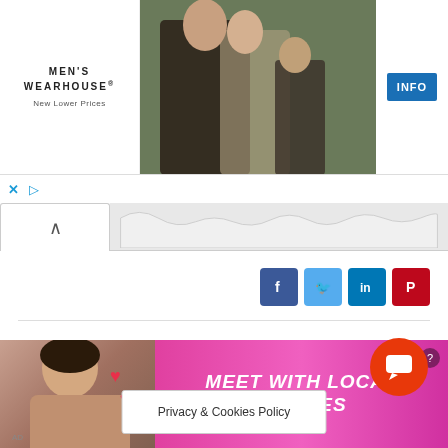[Figure (screenshot): Men's Wearhouse advertisement banner with logo on left, couple in formal wear in center, man in suit on right, blue INFO button on far right]
[Figure (screenshot): Browser tab/navigation area with up arrow tab on left and wavy line content area on right]
[Figure (infographic): Social share buttons: Facebook (blue), Twitter (light blue), LinkedIn (dark blue), Pinterest (red)]
[Figure (screenshot): Bottom advertisement for dating site with woman photo on left, pink background with text MEET WITH LOCAL SINGLES and question mark badge]
Privacy & Cookies Policy
[Figure (screenshot): Orange circular chat/support button with speech bubble icon]